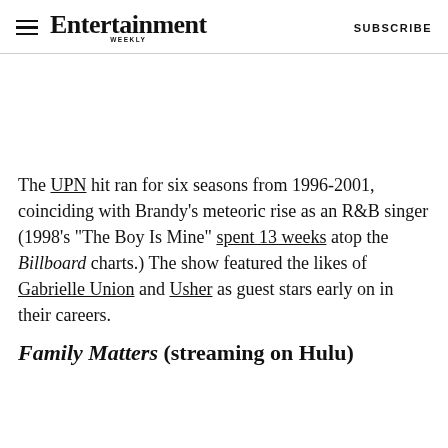Entertainment Weekly  SUBSCRIBE
[Figure (other): White blank image area / advertisement placeholder]
The UPN hit ran for six seasons from 1996-2001, coinciding with Brandy's meteoric rise as an R&B singer (1998's "The Boy Is Mine" spent 13 weeks atop the Billboard charts.) The show featured the likes of Gabrielle Union and Usher as guest stars early on in their careers.
Family Matters (streaming on Hulu)